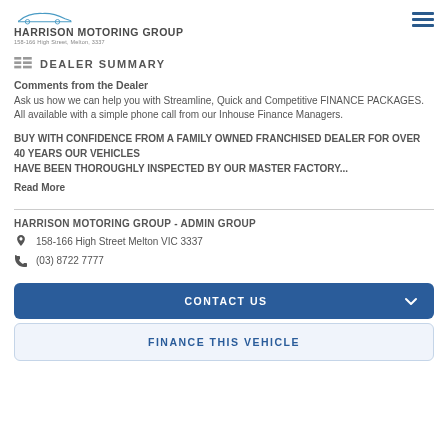HARRISON MOTORING GROUP
DEALER SUMMARY
Comments from the Dealer
Ask us how we can help you with Streamline, Quick and Competitive FINANCE PACKAGES. All available with a simple phone call from our Inhouse Finance Managers.
BUY WITH CONFIDENCE FROM A FAMILY OWNED FRANCHISED DEALER FOR OVER 40 YEARS OUR VEHICLES HAVE BEEN THOROUGHLY INSPECTED BY OUR MASTER FACTORY...
Read More
HARRISON MOTORING GROUP - ADMIN GROUP
158-166 High Street Melton VIC 3337
(03) 8722 7777
CONTACT US
FINANCE THIS VEHICLE